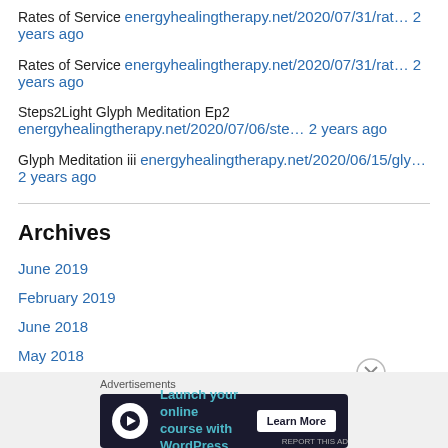Rates of Service energyhealingtherapy.net/2020/07/31/rat… 2 years ago
Rates of Service energyhealingtherapy.net/2020/07/31/rat… 2 years ago
Steps2Light Glyph Meditation Ep2 energyhealingtherapy.net/2020/07/06/ste… 2 years ago
Glyph Meditation iii energyhealingtherapy.net/2020/06/15/gly… 2 years ago
Archives
June 2019
February 2019
June 2018
May 2018